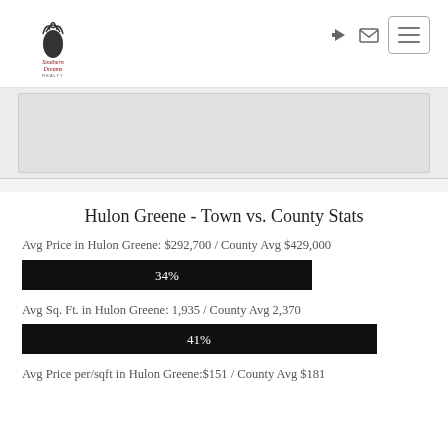[Figure (logo): Southern Dreams Realty logo with pineapple icon]
[Figure (other): Navigation icons: login arrow and mail envelope, plus hamburger menu button]
[Figure (map): Map placeholder area]
Hulon Greene - Town vs. County Stats
Avg Price in Hulon Greene: $292,700 / County Avg $429,000
[Figure (bar-chart): Avg Price bar]
Avg Sq. Ft. in Hulon Greene: 1,935 / County Avg 2,370
[Figure (bar-chart): Avg Sq Ft bar]
Avg Price per/sqft in Hulon Greene:$151 / County Avg $181